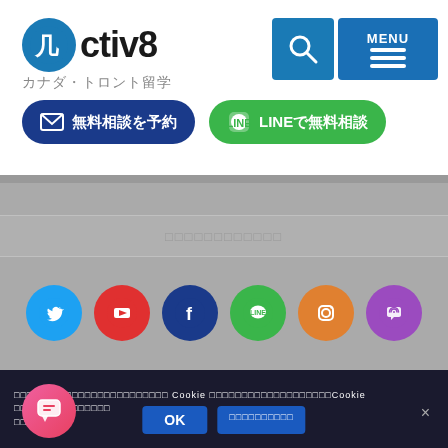[Figure (logo): Activ8 logo with blue circle A and text 'Activ8', subtitle 'カナダ・トロント留学']
[Figure (logo): Search icon (magnifying glass) and hamburger MENU button in blue]
[Figure (infographic): Dark blue pill button '無料相談を予約' (Free consultation reservation) with mail icon]
[Figure (infographic): Green pill button 'LINEで無料相談' (Free consultation via LINE) with LINE icon]
[Figure (infographic): Gray section with placeholder text bar and 6 social media icons: Twitter, YouTube, Facebook, LINE, Instagram, Viber]
□□□□□□□□□□□□ Cookie □□□□□□□□□□□□□□Cookie □□□□□□□□□□□□□□□
[Figure (infographic): Pink/red circular chat bubble icon bottom left]
[Figure (infographic): OK button and □□□□□□□□□□ button in dark blue, × close icon]